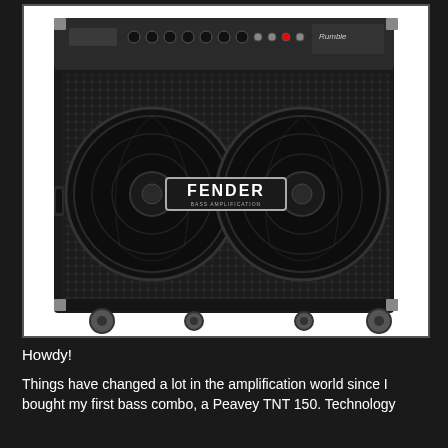[Figure (photo): Fender Rumble bass amplifier combo — a large black cabinet with two speakers visible behind diamond-pattern grille cloth, control panel with knobs along the top, Fender Bass Amplification logo badge in center, corner metal protectors, side handle, and caster wheels at bottom.]
Howdy!
Things have changed a lot in the amplification world since I bought my first bass combo, a Peavey TNT 150. Technology